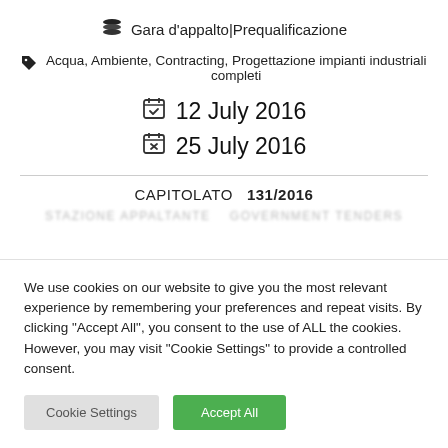Gara d'appalto|Prequalificazione
Acqua, Ambiente, Contracting, Progettazione impianti industriali completi
12 July 2016
25 July 2016
CAPITOLATO 131/2016
STAZIONE APPALTANTE – GOVERNMENT TENDERS
We use cookies on our website to give you the most relevant experience by remembering your preferences and repeat visits. By clicking "Accept All", you consent to the use of ALL the cookies. However, you may visit "Cookie Settings" to provide a controlled consent.